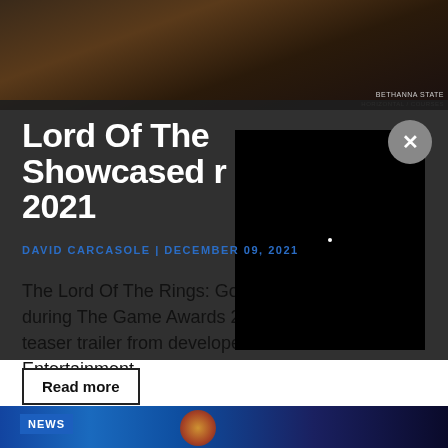[Figure (photo): Dark cinematic banner image showing a fantasy/game scene, likely from Lord of the Rings: Gollum, with a watermark reading 'BETHANNA STATE' in the lower right corner.]
Lord Of The Rings: Gollum Showcased At The Game Awards 2021
DAVID CARCASOLE | DECEMBER 09, 2021
The Lord Of The Rings: Gollum was showcased during The Game Awards 2021 with a brand new teaser trailer from developer Daedalic Entertainment.
Read more
[Figure (photo): Bottom strip showing a space/sci-fi themed image with a NEWS badge overlay on the left side.]